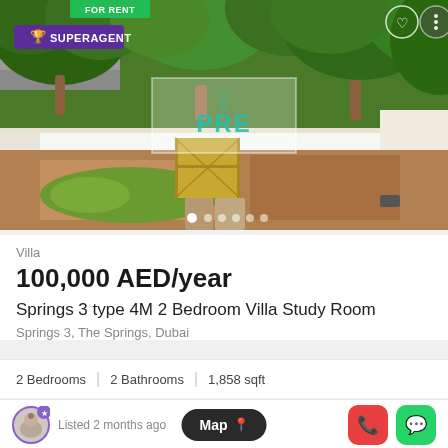[Figure (photo): Aerial/overhead view of a villa garden with green trees, white perimeter wall, a yellow/gold gate, brown/red soil ground area, and a small grass patch. A watermark logo reading PRE is overlaid on the image. SUPERAGENT badge in purple top left. FOR RENT badge in green top center. Carousel navigation dots at the bottom of the image.]
Villa
100,000 AED/year
Springs 3 type 4M 2 Bedroom Villa Study Room
Springs 3, The Springs, Dubai
2 Bedrooms | 2 Bathrooms | 1,858 sqft
Listed 2 months ago